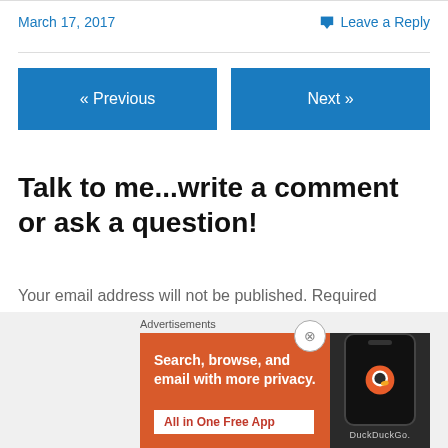March 17, 2017
Leave a Reply
« Previous
Next »
Talk to me...write a comment or ask a question!
Your email address will not be published. Required fields are marked *
[Figure (illustration): DuckDuckGo advertisement banner with orange background showing 'Search, browse, and email with more privacy. All in One Free App' text alongside a phone image with the DuckDuckGo logo]